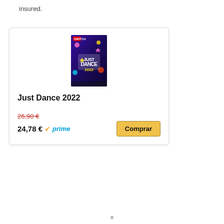insured.
[Figure (screenshot): Product card showing Just Dance 2022 Nintendo Switch game box art with colorful characters on a dark background, Just Dance 2022 logo visible]
Just Dance 2022
26,90 €
24,78 € ✓prime
Comprar